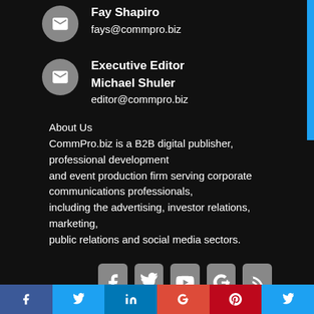Fay Shapiro
fays@commpro.biz
Executive Editor
Michael Shuler
editor@commpro.biz
About Us
CommPro.biz is a B2B digital publisher, professional development
and event production firm serving corporate communications professionals,
including the advertising, investor relations, marketing,
public relations and social media sectors.
[Figure (other): Row of five social media icon buttons: Facebook, Twitter, YouTube, Google+, RSS]
[Figure (other): Bottom bar with colored social media share buttons: Facebook (dark blue), Twitter (light blue), LinkedIn (blue), Google+ (red-orange), Pinterest (red), and partial Twitter (light blue)]